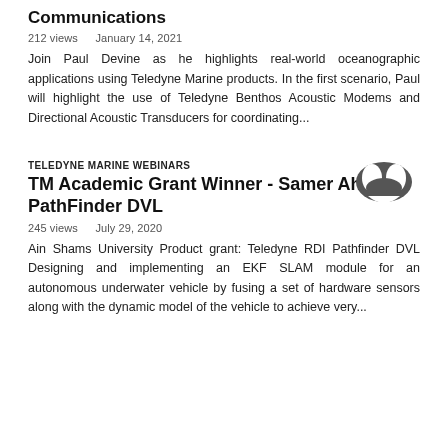Communications
212 views   January 14, 2021
Join Paul Devine as he highlights real-world oceanographic applications using Teledyne Marine products. In the first scenario, Paul will highlight the use of Teledyne Benthos Acoustic Modems and Directional Acoustic Transducers for coordinating...
TELEDYNE MARINE WEBINARS
TM Academic Grant Winner - Samer Ahmed - PathFinder DVL
245 views   July 29, 2020
Ain Shams University Product grant: Teledyne RDI Pathfinder DVL Designing and implementing an EKF SLAM module for an autonomous underwater vehicle by fusing a set of hardware sensors along with the dynamic model of the vehicle to achieve very...